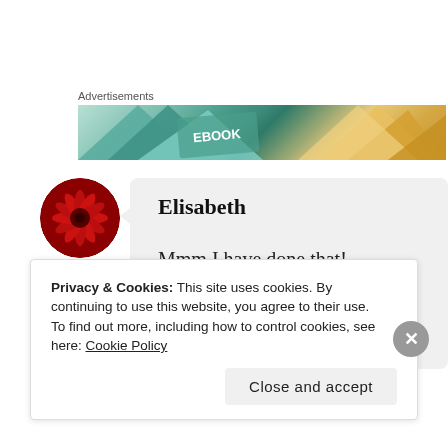Advertisements
[Figure (illustration): Advertisement banner showing colorful book-shaped geometric shapes in teal and gold/orange colors with text 'BOOK' visible]
[Figure (photo): Round avatar photo of a red chrysanthemum flower]
Elisabeth
Mmm I have done that!
Privacy & Cookies: This site uses cookies. By continuing to use this website, you agree to their use.
To find out more, including how to control cookies, see here: Cookie Policy
Close and accept